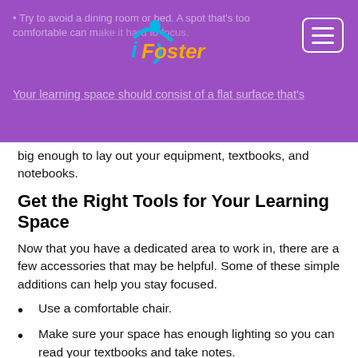iFoster logo and navigation header
Try to avoid a dining room or bed. A spot that's too comfortable can make it hard to focus.
Your learning space should consist of a flat surface that's big enough to lay out your equipment, textbooks, and notebooks.
big enough to lay out your equipment, textbooks, and notebooks.
Get the Right Tools for Your Learning Space
Now that you have a dedicated area to work in, there are a few accessories that may be helpful. Some of these simple additions can help you stay focused.
Use a comfortable chair.
Make sure your space has enough lighting so you can read your textbooks and take notes.
Keep your school supplies close by so you can grab them when needed, but they don't clutter your learning